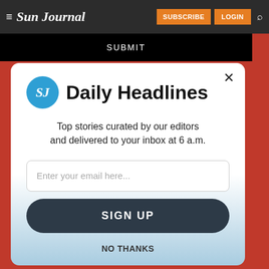Sun Journal — SUBSCRIBE LOGIN
SUBMIT
SJ Daily Headlines
Top stories curated by our editors and delivered to your inbox at 6 a.m.
Enter your email here...
SIGN UP
NO THANKS